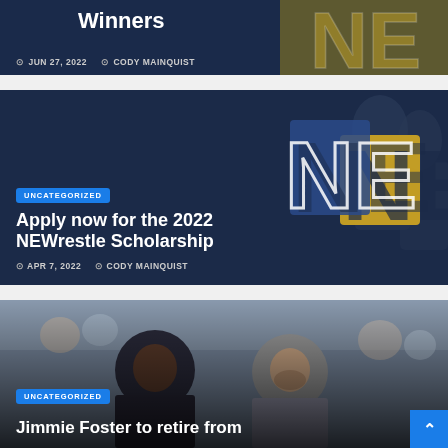[Figure (photo): Card 1 top strip: dark blue and gold background with NE logo, date JUN 27 2022, author CODY MAINQUIST]
JUN 27, 2022   CODY MAINQUIST
[Figure (photo): Card 2: dark blue and gold NE logo background with UNCATEGORIZED badge, title Apply now for the 2022 NEWrestle Scholarship, date APR 7 2022, author CODY MAINQUIST]
UNCATEGORIZED
Apply now for the 2022 NEWrestle Scholarship
APR 7, 2022   CODY MAINQUIST
[Figure (photo): Card 3 bottom: photo of crowd at sports event with two coaches in foreground, UNCATEGORIZED badge, partial title Jimmie Foster to retire from coach at Omaha Central]
UNCATEGORIZED
Jimmie Foster to retire from coach at Omaha Central